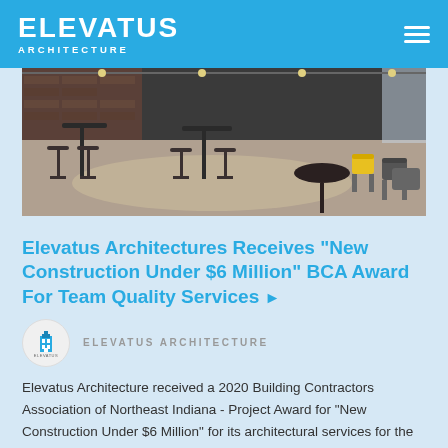ELEVATUS ARCHITECTURE
[Figure (photo): Interior photo of a restaurant/office space with dark tables, bar stools, and modern chairs including yellow accent chairs on a patterned rug with brick walls in background]
Elevatus Architectures Receives "New Construction Under $6 Million" BCA Award For Team Quality Services ▶
ELEVATUS ARCHITECTURE
Elevatus Architecture received a 2020 Building Contractors Association of Northeast Indiana - Project Award for "New Construction Under $6 Million" for its architectural services for the Team Quality Services' new corporate office in downtown Auburn, Indiana. Elevatus collaborated with design-builder Michael Kinder & Sons,